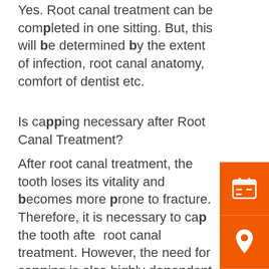Yes. Root canal treatment can be completed in one sitting. But, this will be determined by the extent of infection, root canal anatomy, comfort of dentist etc.
Is capping necessary after Root Canal Treatment?
After root canal treatment, the tooth loses its vitality and becomes more prone to fracture. Therefore, it is necessary to cap the tooth after root canal treatment. However, the need for capping is also highly dependent on the location of the tooth.
Teeth located at the back (like molars and premolars) are needed for chewing and thus
[Figure (infographic): Orange sidebar with three icons: calendar/appointment icon, location pin icon, and Indian Rupee currency icon]